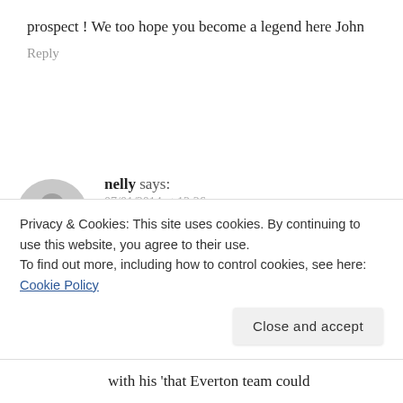prospect ! We too hope you become a legend here John
Reply
nelly says:
07/01/2014 at 12:26 pm
i totally agree about the contract thing plus the fact he went to Utd's training ground 2 days a week whilst still employed as Everton manager beggars belief and was a show of total
Privacy & Cookies: This site uses cookies. By continuing to use this website, you agree to their use.
To find out more, including how to control cookies, see here: Cookie Policy
Close and accept
with his 'that Everton team could